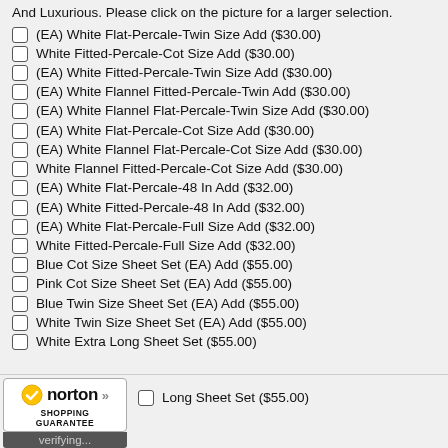And Luxurious. Please click on the picture for a larger selection.
(EA) White Flat-Percale-Twin Size Add ($30.00)
White Fitted-Percale-Cot Size Add ($30.00)
(EA) White Fitted-Percale-Twin Size Add ($30.00)
(EA) White Flannel Fitted-Percale-Twin Add ($30.00)
(EA) White Flannel Flat-Percale-Twin Size Add ($30.00)
(EA) White Flat-Percale-Cot Size Add ($30.00)
(EA) White Flannel Flat-Percale-Cot Size Add ($30.00)
White Flannel Fitted-Percale-Cot Size Add ($30.00)
(EA) White Flat-Percale-48 In Add ($32.00)
(EA) White Fitted-Percale-48 In Add ($32.00)
(EA) White Flat-Percale-Full Size Add ($32.00)
White Fitted-Percale-Full Size Add ($32.00)
Blue Cot Size Sheet Set (EA) Add ($55.00)
Pink Cot Size Sheet Set (EA) Add ($55.00)
Blue Twin Size Sheet Set (EA) Add ($55.00)
White Twin Size Sheet Set (EA) Add ($55.00)
White Extra Long Sheet Set ($55.00)
Long Sheet Set ($55.00)